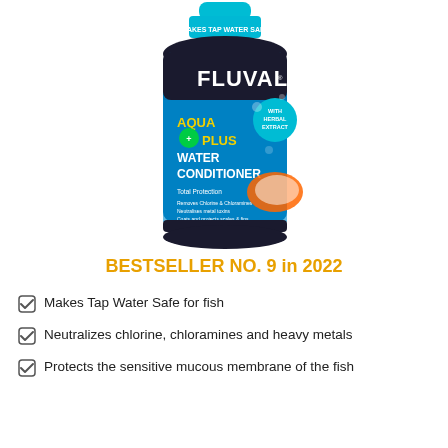[Figure (photo): Fluval Aqua Plus Water Conditioner 500ml bottle with blue label, fish imagery, and 'MAKES TAP WATER SAFE' text on cap area]
BESTSELLER NO. 9 in 2022
Makes Tap Water Safe for fish
Neutralizes chlorine, chloramines and heavy metals
Protects the sensitive mucous membrane of the fish